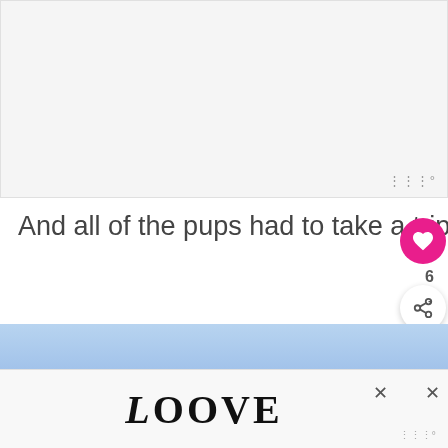[Figure (photo): Large image placeholder area at top of page, light gray background]
And all of the pups had to take a trip down the Puppy Falls slide, of course!
[Figure (photo): Blue sky gradient image, partial view of a slide or outdoor scene]
[Figure (infographic): WHAT'S NEXT promo box with thumbnail and text: Fun Summer Ideas for Kids]
[Figure (screenshot): Bottom advertisement bar with decorative LOVE text in stylized letters]